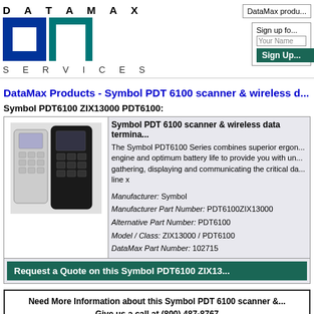[Figure (logo): DataMax Services logo with blue and teal square letterforms and spaced text]
DataMax produ...
Sign up fo... Your Name Sign Up
DataMax Products - Symbol PDT 6100 scanner & wireless d...
Symbol PDT6100 ZIX13000 PDT6100:
[Figure (photo): Two Symbol PDT6100 handheld scanners, one white/grey and one dark/black]
Symbol PDT 6100 scanner & wireless data termina...

The Symbol PDT6100 Series combines superior ergon... engine and optimum battery life to provide you with un... gathering, displaying and communicating the critical da... line x

Manufacturer: Symbol
Manufacturer Part Number: PDT6100ZIX13000
Alternative Part Number: PDT6100
Model / Class: ZIX13000 / PDT6100
DataMax Part Number: 102715
Request a Quote on this Symbol PDT6100 ZIX13...
Need More Information about this Symbol PDT 6100 scanner &...
Give us a call at (800) 487-8767